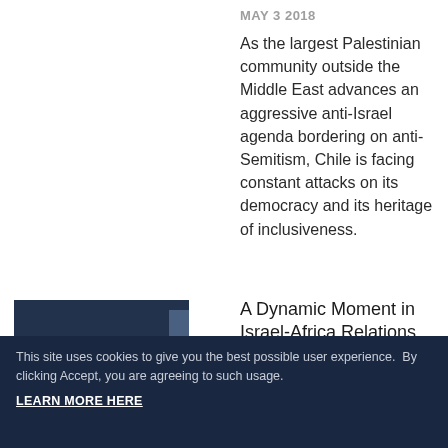MAY 3 2018
As the largest Palestinian community outside the Middle East advances an aggressive anti-Israel agenda bordering on anti-Semitism, Chile is facing constant attacks on its democracy and its heritage of inclusiveness.
[Figure (photo): Group of people in formal attire standing together, dark background]
A Dynamic Moment in Israel-Africa Relations
JULY 3 2018
Why is Israel returning to Africa? For Netanyahu, one reaso...
This site uses cookies to give you the best possible user experience.  By clicking Accept, you are agreeing to such usage. LEARN MORE HERE